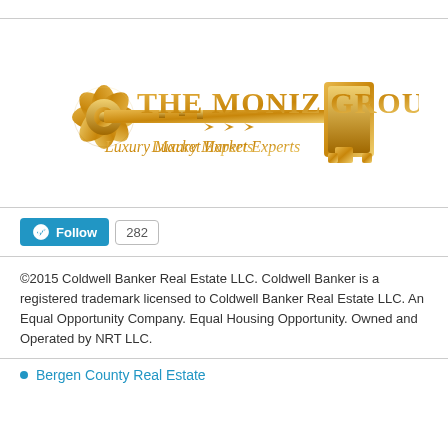[Figure (logo): The Moniz Group logo featuring a golden ornamental key/flower design on the left and the text 'THE MONIZ GROUP' in gold with 'Luxury Market Experts' in italic below, and a gold key barrel on the right.]
[Figure (infographic): WordPress Follow button (blue, with WordPress W icon) and a count badge showing '282'.]
©2015 Coldwell Banker Real Estate LLC. Coldwell Banker is a registered trademark licensed to Coldwell Banker Real Estate LLC. An Equal Opportunity Company. Equal Housing Opportunity. Owned and Operated by NRT LLC.
Bergen County Real Estate